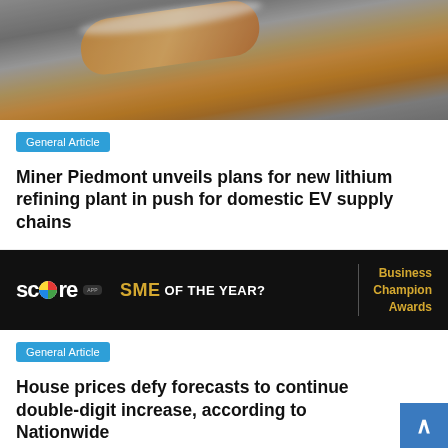[Figure (photo): Close-up photo of a pastry or bread roll dusted with powdered sugar on a metallic surface]
General Article
Miner Piedmont unveils plans for new lithium refining plant in push for domestic EV supply chains
[Figure (other): Score App SME of the Year? Business Champion Awards advertisement banner on dark background]
General Article
House prices defy forecasts to continue double-digit increase, according to Nationwide